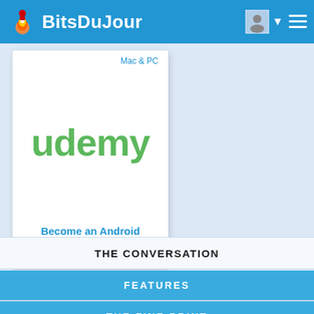BitsDuJour
Mac & PC
[Figure (logo): Udemy logo in green text on white background]
Become an Android Developer
THE CONVERSATION
FEATURES
THE FINE PRINT
Email Updates